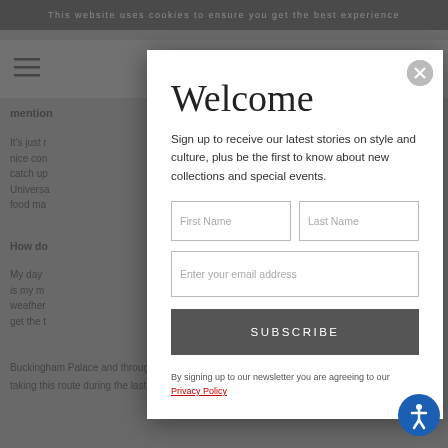This website uses cookies to ensure you get the best experience
[Figure (screenshot): Website navigation bar with hamburger menu icon on left and search/bag icons on right]
mention
It's just r... really nice con... ice to catch up... road at Universa... Street food ma...
How do... llike?
My day ... ppa Pig is my m... summer weather... ead I get the t...
Buckingham Palace and through Green Park. It's been so nic... taking this route during the last year because it's normally such a...
Welcome
Sign up to receive our latest stories on style and culture, plus be the first to know about new collections and special events.
First Name
Last Name
Enter your email address
SUBSCRIBE
By signing up to our newsletter you are agreeing to our Privacy Policy